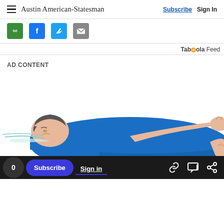Austin American-Statesman — Subscribe | Sign In
[Figure (infographic): Social share icons row: txt (green), Facebook (blue), Twitter (light blue), email (grey)]
Taboola Feed
AD CONTENT
[Figure (illustration): Illustration of a person in blue pajamas lying down sleeping, with bare feet visible, on a white background]
0  Subscribe  Sign in  [link icon] [chat icon] [share icon]